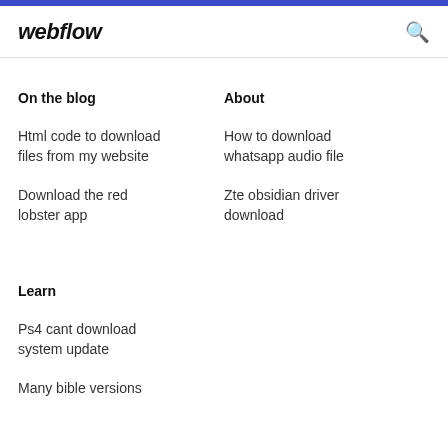webflow
On the blog
About
Html code to download files from my website
How to download whatsapp audio file
Download the red lobster app
Zte obsidian driver download
Learn
Ps4 cant download system update
Many bible versions